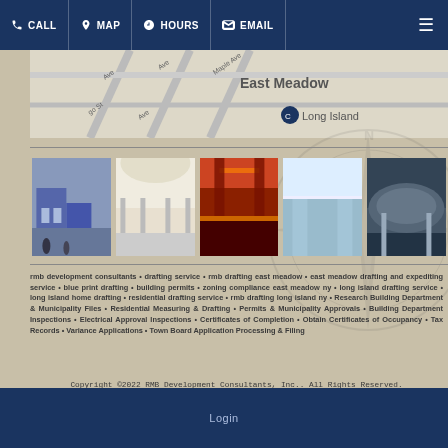CALL  MAP  HOURS  EMAIL
[Figure (map): Street map showing East Meadow area with Long Island label]
[Figure (photo): Row of five architectural/interior shopping center photos]
rmb development consultants • drafting service • rmb drafting east meadow • east meadow drafting and expediting service • blue print drafting • building permits • zoning compliance east meadow ny • long island drafting service • long island home drafting • residential drafting service • rmb drafting long island ny • Research Building Department & Municipality Files • Residential Measuring & Drafting • Permits & Municipality Approvals • Building Department Inspections • Electrical Approval Inspections • Certificates of Completion • Obtain Certificates of Occupancy • Tax Records • Variance Applications • Town Board Application Processing & Filing
Copyright ©2022 RMB Development Consultants, Inc.. All Rights Reserved.
Designed by MyBusinessMyWebsite
Login